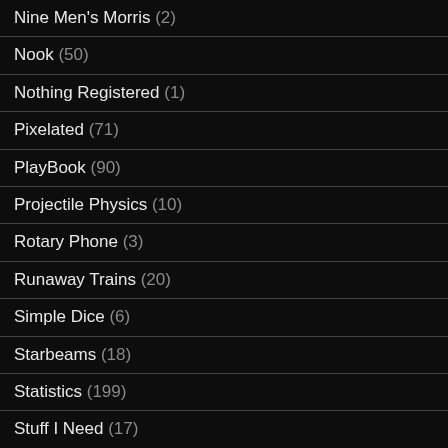Nine Men's Morris (2)
Nook (50)
Nothing Registered (1)
Pixelated (71)
PlayBook (90)
Projectile Physics (10)
Rotary Phone (3)
Runaway Trains (20)
Simple Dice (6)
Starbeams (18)
Statistics (199)
Stuff I Need (17)